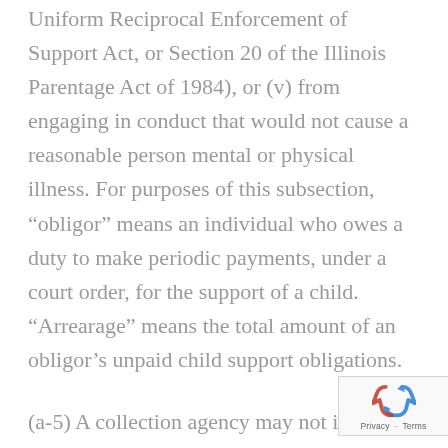Uniform Reciprocal Enforcement of Support Act, or Section 20 of the Illinois Parentage Act of 1984), or (v) from engaging in conduct that would not cause a reasonable person mental or physical illness. For purposes of this subsection, “obligor” means an individual who owes a duty to make periodic payments, under a court order, for the support of a child. “Arrearage” means the total amount of an obligor’s unpaid child support obligations.
(a-5) A collection agency may not impose a fee or charge, including costs, for any child support payments collected